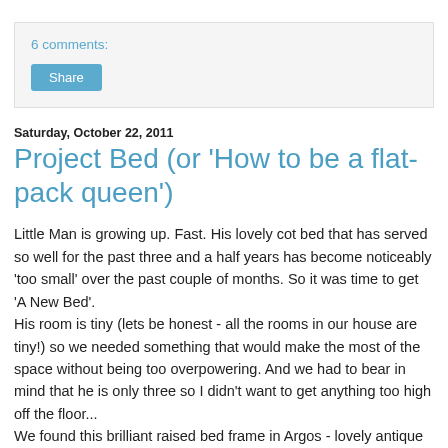6 comments:
Share
Saturday, October 22, 2011
Project Bed (or 'How to be a flat-pack queen')
Little Man is growing up. Fast. His lovely cot bed that has served so well for the past three and a half years has become noticeably 'too small' over the past couple of months. So it was time to get 'A New Bed'. His room is tiny (lets be honest - all the rooms in our house are tiny!) so we needed something that would make the most of the space without being too overpowering. And we had to bear in mind that he is only three so I didn't want to get anything too high off the floor... We found this brilliant raised bed frame in Argos - lovely antique stained (not shiny varnish, thank goodness) solid